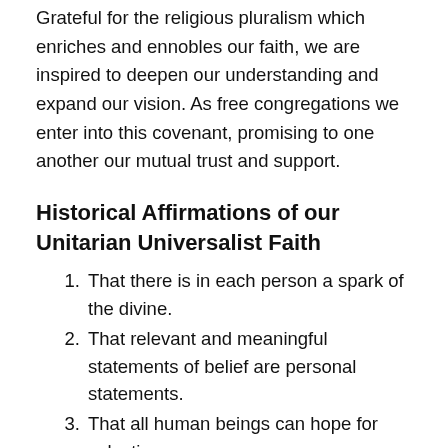Grateful for the religious pluralism which enriches and ennobles our faith, we are inspired to deepen our understanding and expand our vision. As free congregations we enter into this covenant, promising to one another our mutual trust and support.
Historical Affirmations of our Unitarian Universalist Faith
That there is in each person a spark of the divine.
That relevant and meaningful statements of belief are personal statements.
That all human beings can hope for salvation.
That God is a unity as opposed to a trinity.
That truth grows and changes.
That people should be free to judge whether or not to accept the pronouncements of the church.
That a broadly inclusive tolerance in religion is…